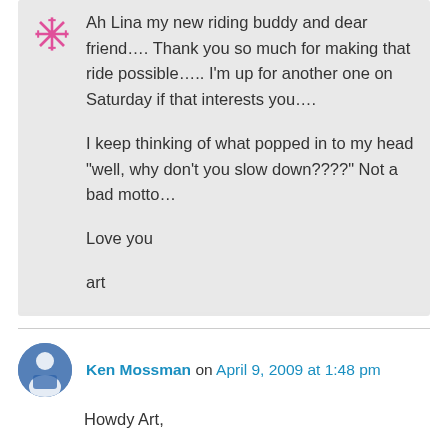Ah Lina my new riding buddy and dear friend.... Thank you so much for making that ride possible..... I'm up for another one on Saturday if that interests you....

I keep thinking of what popped in to my head "well, why don't you slow down????" Not a bad motto...

Love you

art
Ken Mossman on April 9, 2009 at 1:48 pm
Howdy Art,